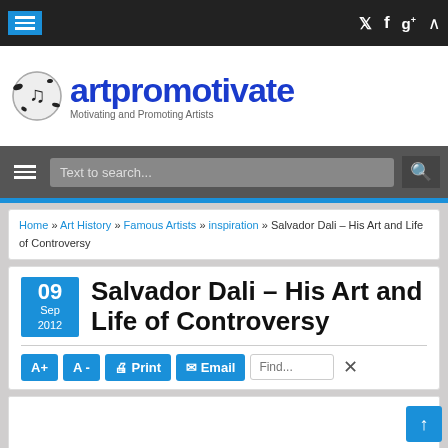artpromotivate – Motivating and Promoting Artists
Home » Art History » Famous Artists » inspiration » Salvador Dali – His Art and Life of Controversy
Salvador Dali – His Art and Life of Controversy
09 Sep 2012
A+ | A- | Print | Email | Find...